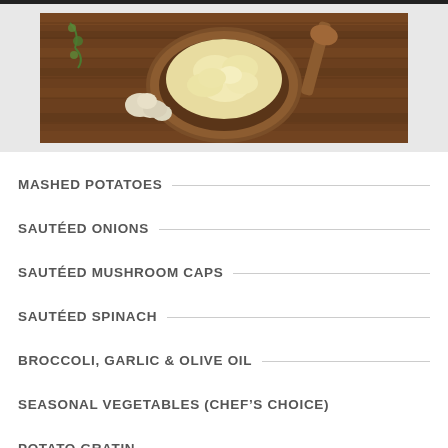[Figure (photo): Overhead photo of a wooden bowl of mashed potatoes with a wooden spoon, garlic cloves, and dill herb on a rustic wooden table background]
MASHED POTATOES
SAUTÉED ONIONS
SAUTÉED MUSHROOM CAPS
SAUTÉED SPINACH
BROCCOLI, GARLIC & OLIVE OIL
SEASONAL VEGETABLES (CHEF'S CHOICE)
POTATO GRATIN
SEASONED FRIES